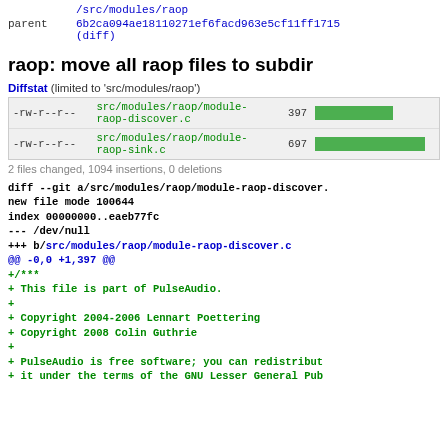/src/modules/raop
parent   6b2ca094ae18110271ef6facd963e5cf11ff1715 (diff)
raop: move all raop files to subdir
Diffstat (limited to 'src/modules/raop')
| perms | file | count | bar |
| --- | --- | --- | --- |
| -rw-r--r-- | src/modules/raop/module-raop-discover.c | 397 |  |
| -rw-r--r-- | src/modules/raop/module-raop-sink.c | 697 |  |
2 files changed, 1094 insertions, 0 deletions
diff --git a/src/modules/raop/module-raop-discover.
new file mode 100644
index 00000000..eaeb77fc
--- /dev/null
+++ b/src/modules/raop/module-raop-discover.c
@@ -0,0 +1,397 @@
+/***
+  This file is part of PulseAudio.
+
+  Copyright 2004-2006 Lennart Poettering
+  Copyright 2008 Colin Guthrie
+
+  PulseAudio is free software; you can redistribut
+  it under the terms of the GNU Lesser General Pub